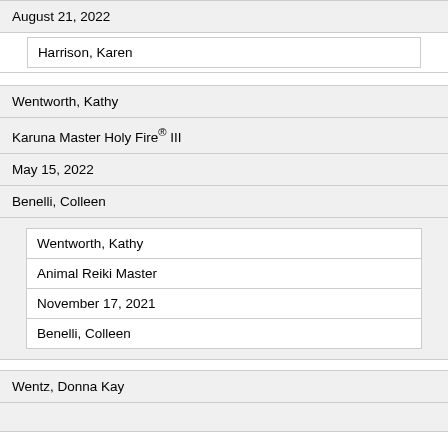| August 21, 2022 |
| Harrison, Karen |
| Wentworth, Kathy |
| Karuna Master Holy Fire® III |
| May 15, 2022 |
| Benelli, Colleen |
| [nested: Wentworth, Kathy | Animal Reiki Master | November 17, 2021 | Benelli, Colleen] |
| Wentz, Donna Kay |